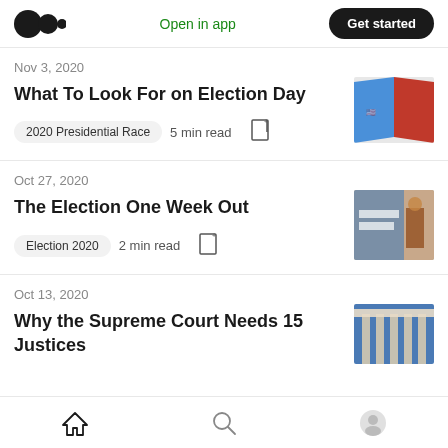Medium logo | Open in app | Get started
Nov 3, 2020
What To Look For on Election Day
2020 Presidential Race   5 min read
[Figure (photo): Map of the United States split diagonally into blue (left) and red (right) halves]
Oct 27, 2020
The Election One Week Out
Election 2020   2 min read
[Figure (photo): Person standing near election-related signage/posters]
Oct 13, 2020
Why the Supreme Court Needs 15 Justices
[Figure (photo): Partial view of Supreme Court building columns against blue sky]
Home | Search | Profile